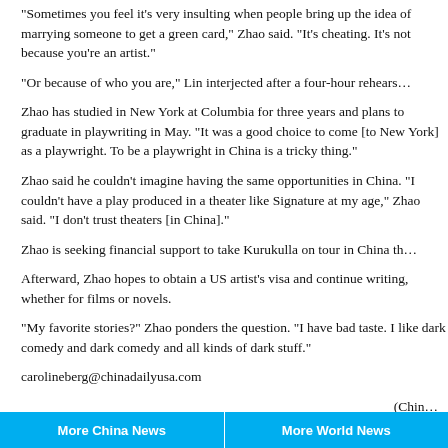"Sometimes you feel it's very insulting when people bring up the idea of marrying someone to get a green card," Zhao said. "It's cheating. It's not because you're an artist."
"Or because of who you are," Lin interjected after a four-hour rehears...
Zhao has studied in New York at Columbia for three years and plans to graduate in playwriting in May. "It was a good choice to come [to New York] as a playwright. To be a playwright in China is a tricky thing."
Zhao said he couldn't imagine having the same opportunities in China. "I couldn't have a play produced in a theater like Signature at my age," Zhao said. "I don't trust theaters [in China]."
Zhao is seeking financial support to take Kurukulla on tour in China th...
Afterward, Zhao hopes to obtain a US artist's visa and continue writing, whether for films or novels.
"My favorite stories?" Zhao ponders the question. "I have bad taste. I like dark comedy and dark comedy and all kinds of dark stuff."
carolineberg@chinadailyusa.com
(Chin...
8.03K
More China News    More World News